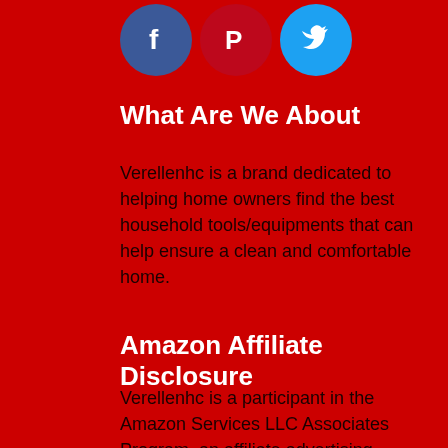[Figure (illustration): Three social media icons in circles: Facebook (blue), Pinterest (dark red), Twitter (light blue)]
What Are We About
Verellenhc is a brand dedicated to helping home owners find the best household tools/equipments that can help ensure a clean and comfortable home.
Amazon Affiliate Disclosure
Verellenhc is a participant in the Amazon Services LLC Associates Program, an affiliate advertising program designed to